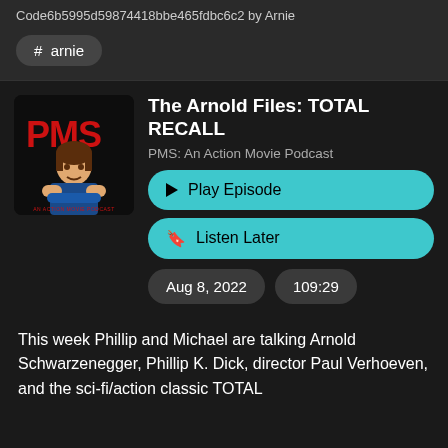Code6b5995d59874418bbe465fdbc6c2 by Arnie
# arnie
The Arnold Files: TOTAL RECALL
PMS: An Action Movie Podcast
▶ Play Episode
🔖 Listen Later
Aug 8, 2022
109:29
This week Phillip and Michael are talking Arnold Schwarzenegger, Phillip K. Dick, director Paul Verhoeven, and the sci-fi/action classic TOTAL